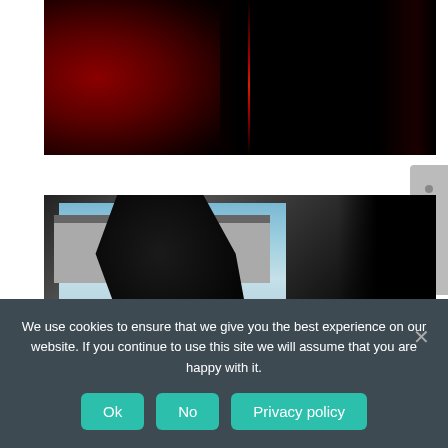[Figure (photo): Dark photo showing red fabric or curtain against a black background with a vertical red streak in the center]
[Figure (photo): Photo showing a person's dark-gloved hand silhouette against an outdoor building scene; a protest sign reading 'NO FUTURE IN CO...' and a sticker with an orange bird are visible in the lower portion]
We use cookies to ensure that we give you the best experience on our website. If you continue to use this site we will assume that you are happy with it.
Ok
No
Privacy policy